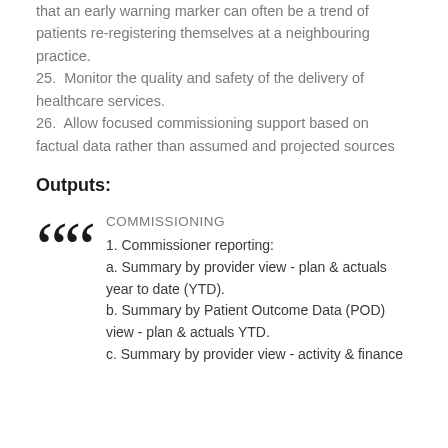that an early warning marker can often be a trend of patients re-registering themselves at a neighbouring practice.
25. Monitor the quality and safety of the delivery of healthcare services.
26. Allow focused commissioning support based on factual data rather than assumed and projected sources
Outputs:
COMMISSIONING
1. Commissioner reporting:
a. Summary by provider view - plan & actuals year to date (YTD).
b. Summary by Patient Outcome Data (POD) view - plan & actuals YTD.
c. Summary by provider view - activity & finance